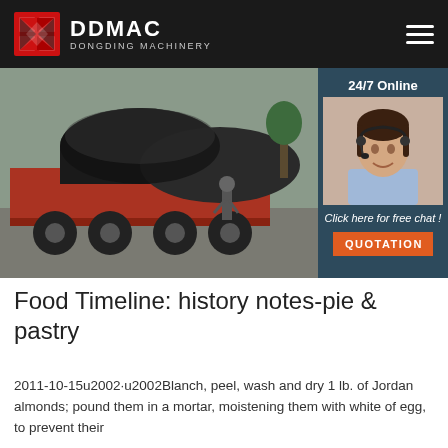DDMAC DONGDING MACHINERY
[Figure (photo): A large industrial rotary drum/cylinder machine loaded on a flatbed truck, with a worker standing beside it in an industrial yard. Sidebar shows a customer service agent (woman with headset) with '24/7 Online', 'Click here for free chat!', and 'QUOTATION' button.]
Food Timeline: history notes-pie & pastry
2011-10-15u2002·u2002Blanch, peel, wash and dry 1 lb. of Jordan almonds; pound them in a mortar, moistening them with white of egg, to prevent their